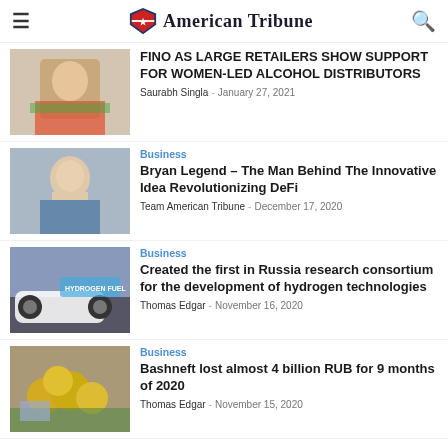American Tribune
[Figure (photo): Woman in colorful attire]
FINO AS LARGE RETAILERS SHOW SUPPORT FOR WOMEN-LED ALCOHOL DISTRIBUTORS
Saurabh Singla - January 27, 2021
[Figure (photo): Professional man in suit, headshot]
Business
Bryan Legend – The Man Behind The Innovative Idea Revolutionizing DeFi
Team American Tribune - December 17, 2020
[Figure (photo): Hydrogen fuel car]
Business
Created the first in Russia research consortium for the development of hydrogen technologies
Thomas Edgar - November 16, 2020
[Figure (photo): Gold coins on currency bills]
Business
Bashneft lost almost 4 billion RUB for 9 months of 2020
Thomas Edgar - November 15, 2020